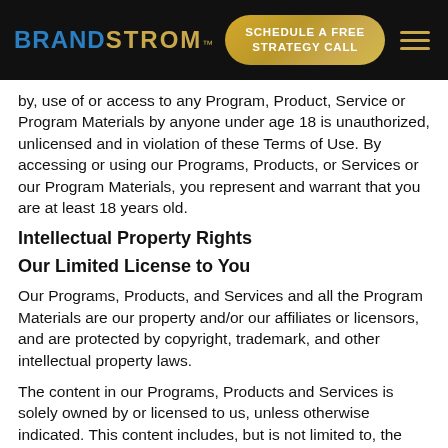BRANDSTROM™  SCHEDULE A FREE STRATEGY CALL
by, use of or access to any Program, Product, Service or Program Materials by anyone under age 18 is unauthorized, unlicensed and in violation of these Terms of Use. By accessing or using our Programs, Products, or Services or our Program Materials, you represent and warrant that you are at least 18 years old.
Intellectual Property Rights
Our Limited License to You
Our Programs, Products, and Services and all the Program Materials are our property and/or our affiliates or licensors, and are protected by copyright, trademark, and other intellectual property laws.
The content in our Programs, Products and Services is solely owned by or licensed to us, unless otherwise indicated. This content includes, but is not limited to, the design, layout, look, appearance, graphics of our